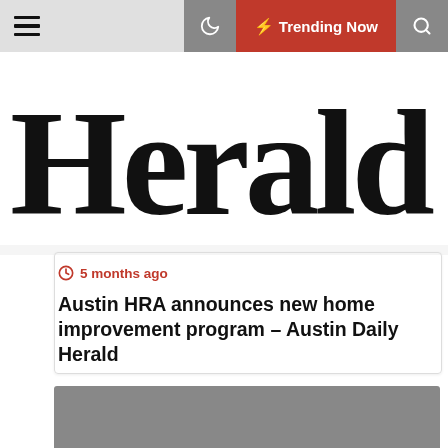Herald — navigation bar with hamburger menu, moon/dark mode toggle, Trending Now button, search icon
Herald
5 months ago
Austin HRA announces new home improvement program – Austin Daily Herald
[Figure (photo): Grey image placeholder for a news article photo]
5 months ago